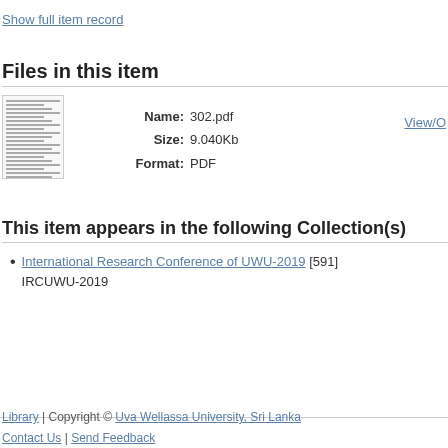Show full item record
Files in this item
Name: 302.pdf
Size: 9.040Kb
Format: PDF
View/O...
This item appears in the following Collection(s)
International Research Conference of UWU-2019 [591] IRCUWU-2019
Library | Copyright © Uva Wellassa University, Sri Lanka
Contact Us | Send Feedback